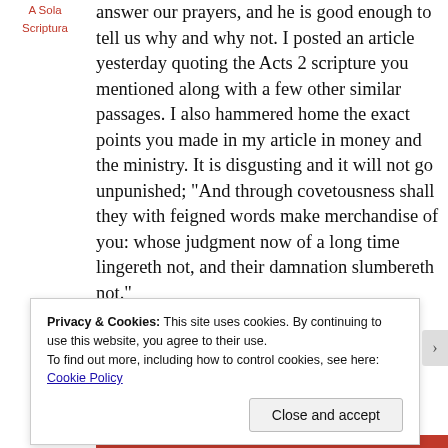A Sola Scriptura
answer our prayers, and he is good enough to tell us why and why not. I posted an article yesterday quoting the Acts 2 scripture you mentioned along with a few other similar passages. I also hammered home the exact points you made in my article in money and the ministry. It is disgusting and it will not go unpunished; “And through covetousness shall they with feigned words make merchandise of you: whose judgment now of a long time lingereth not, and their damnation slumbereth not.” 2 Peter 2:3 KJV
Privacy & Cookies: This site uses cookies. By continuing to use this website, you agree to their use.
To find out more, including how to control cookies, see here: Cookie Policy
Close and accept